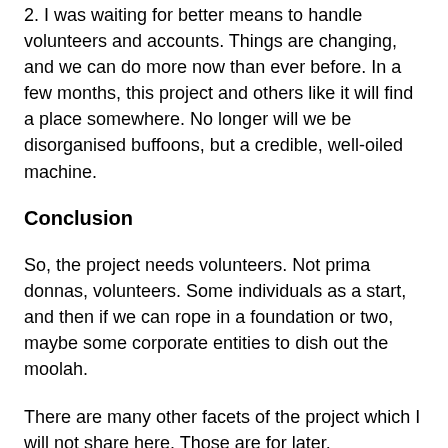2. I was waiting for better means to handle volunteers and accounts. Things are changing, and we can do more now than ever before. In a few months, this project and others like it will find a place somewhere. No longer will we be disorganised buffoons, but a credible, well-oiled machine.
Conclusion
So, the project needs volunteers. Not prima donnas, volunteers. Some individuals as a start, and then if we can rope in a foundation or two, maybe some corporate entities to dish out the moolah.
There are many other facets of the project which I will not share here. Those are for later.
For now, send your e-mail to amirhafizi@gmail.com. I will respond when we have something more solid to work on.
Don't worry. I'm both very busy and laid-back, so this project will take its own sweet time.
Last sentence ends here the first in last to be...